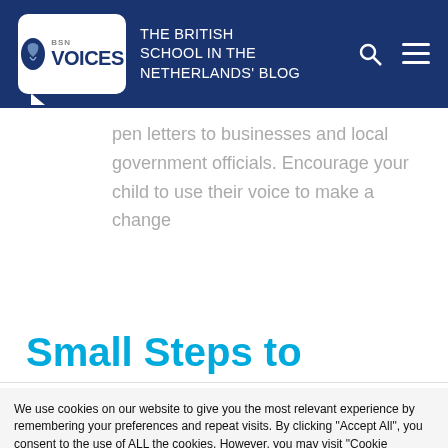BSN VOICES – THE BRITISH SCHOOL IN THE NETHERLANDS' BLOG
pen letters to businesses and local government officials. Encourage your child to use their voice to make a change
Small Steps to
We use cookies on our website to give you the most relevant experience by remembering your preferences and repeat visits. By clicking "Accept All", you consent to the use of ALL the cookies. However, you may visit "Cookie Settings" to provide a controlled consent.